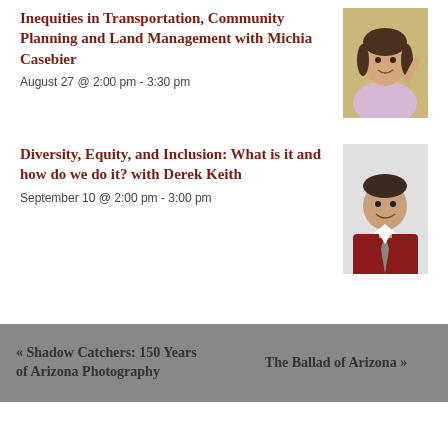Inequities in Transportation, Community Planning and Land Management with Michia Casebier
August 27 @ 2:00 pm - 3:30 pm
[Figure (photo): Portrait photo of Michia Casebier, a woman smiling outdoors]
Diversity, Equity, and Inclusion: What is it and how do we do it? with Derek Keith
September 10 @ 2:00 pm - 3:00 pm
[Figure (photo): Portrait photo of Derek Keith, a man in a red shirt and tie, smiling]
« Shadow Catchers: 150 Years of Arizona Photography
The Ballad of Arizona »